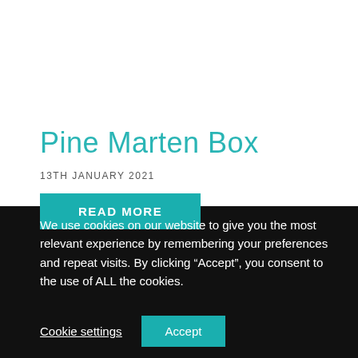Pine Marten Box
13TH JANUARY 2021
READ MORE
We use cookies on our website to give you the most relevant experience by remembering your preferences and repeat visits. By clicking “Accept”, you consent to the use of ALL the cookies.
Cookie settings
Accept